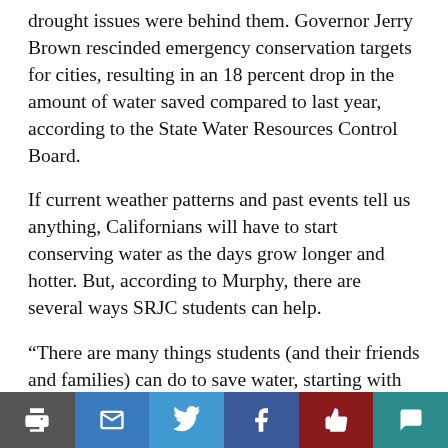drought issues were behind them. Governor Jerry Brown rescinded emergency conservation targets for cities, resulting in an 18 percent drop in the amount of water saved compared to last year, according to the State Water Resources Control Board.
If current weather patterns and past events tell us anything, Californians will have to start conserving water as the days grow longer and hotter. But, according to Murphy, there are several ways SRJC students can help.
“There are many things students (and their friends and families) can do to save water, starting with taking shorter showers, which is easy and costs nothing. For those who are living at home or in a